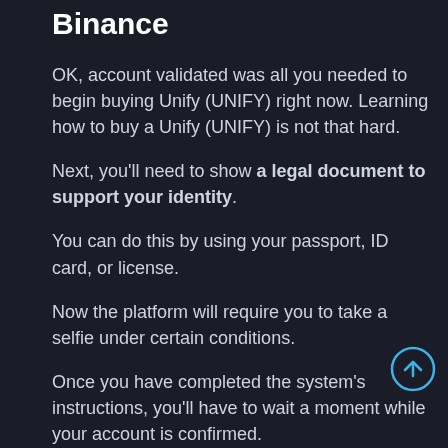Binance
OK, account validated was all you needed to begin buying Unify (UNIFY) right now. Learning how to buy a Unify (UNIFY) is not that hard.
Next, you'll need to show a legal document to support your identity.
You can do this by using your passport, ID card, or license.
Now the platform will require you to take a selfie under certain conditions.
Once you have completed the system's instructions, you'll have to wait a moment while your account is confirmed.
All you need to do is wait patiently. Binance will